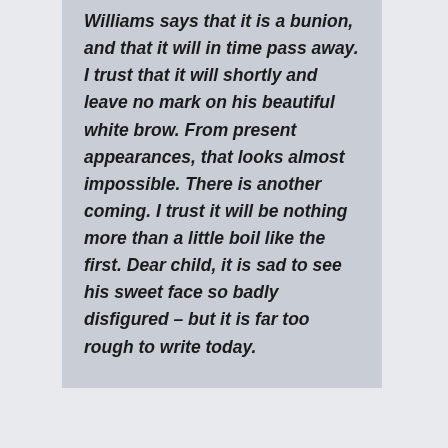Williams says that it is a bunion, and that it will in time pass away. I trust that it will shortly and leave no mark on his beautiful white brow. From present appearances, that looks almost impossible. There is another coming. I trust it will be nothing more than a little boil like the first. Dear child, it is sad to see his sweet face so badly disfigured – but it is far too rough to write today.